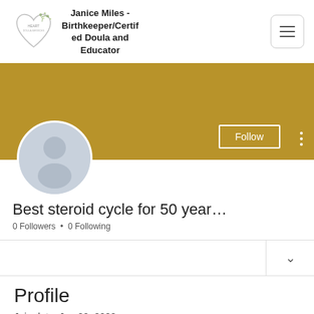Janice Miles - Birthkeeper/Certified Doula and Educator
[Figure (screenshot): Profile cover image - solid golden/dark yellow banner with Follow button and vertical dots menu]
[Figure (illustration): Circular user avatar placeholder icon with grey silhouette on light blue-grey background]
Best steroid cycle for 50 year…
0 Followers • 0 Following
Profile
Join date: Jun 20, 2022